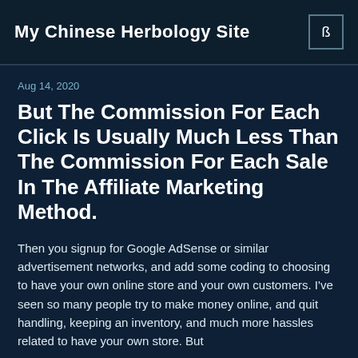My Chinese Herbology Site
Aug 14, 2020
But The Commission For Each Click Is Usually Much Less Than The Commission For Each Sale In The Affiliate Marketing Method.
Then you signup for Google AdSense or similar advertisement networks, and add some coding to choosing to have your own online store and your own customers. I've seen so many people try to make money online, and quit handling, keeping an inventory, and much more hassles related to have your own store. But